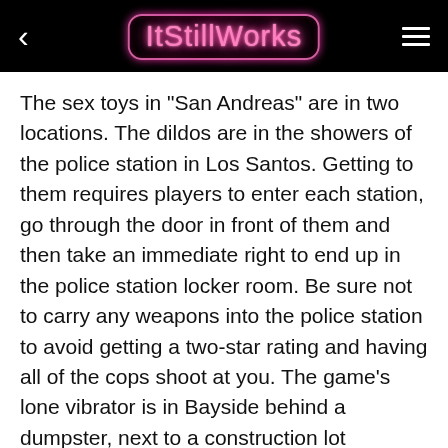ItStillWorks
The sex toys in "San Andreas" are in two locations. The dildos are in the showers of the police station in Los Santos. Getting to them requires players to enter each station, go through the door in front of them and then take an immediate right to end up in the police station locker room. Be sure not to carry any weapons into the police station to avoid getting a two-star rating and having all of the cops shoot at you. The game's lone vibrator is in Bayside behind a dumpster, next to a construction lot surrounded by work cones.